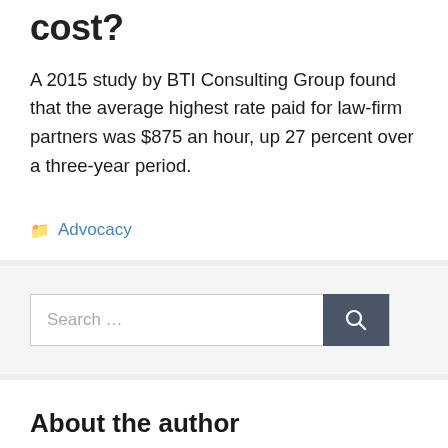cost?
A 2015 study by BTI Consulting Group found that the average highest rate paid for law-firm partners was $875 an hour, up 27 percent over a three-year period.
Advocacy
Search …
About the author